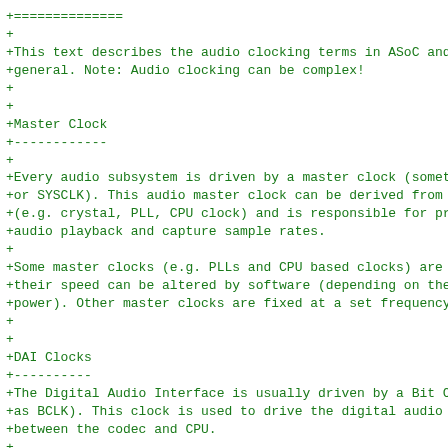+==============
+
+This text describes the audio clocking terms in ASoC and dig
+general. Note: Audio clocking can be complex!
+
+
+Master Clock
+------------
+
+Every audio subsystem is driven by a master clock (sometimes
+or SYSCLK). This audio master clock can be derived from a nu
+(e.g. crystal, PLL, CPU clock) and is responsible for produc
+audio playback and capture sample rates.
+
+Some master clocks (e.g. PLLs and CPU based clocks) are conf
+their speed can be altered by software (depending on the sys
+power). Other master clocks are fixed at a set frequency (i.
+
+
+DAI Clocks
+----------
+The Digital Audio Interface is usually driven by a Bit Clock
+as BCLK). This clock is used to drive the digital audio data
+between the codec and CPU.
++